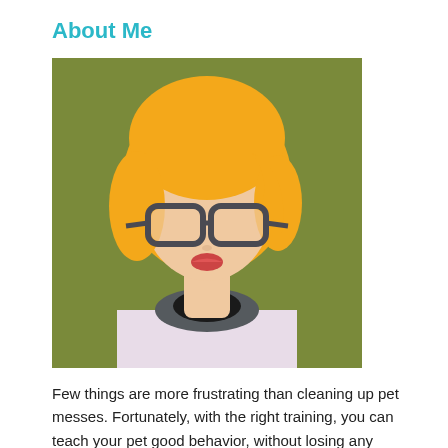About Me
[Figure (illustration): Flat vector illustration of a person with short orange/blonde hair, wearing dark-rimmed glasses and a light pink top with a dark gray collar, on an olive/green background.]
Few things are more frustrating than cleaning up pet messes. Fortunately, with the right training, you can teach your pet good behavior, without losing any sleep. My name is Sam, and I love pets. However, I know how hard it can be